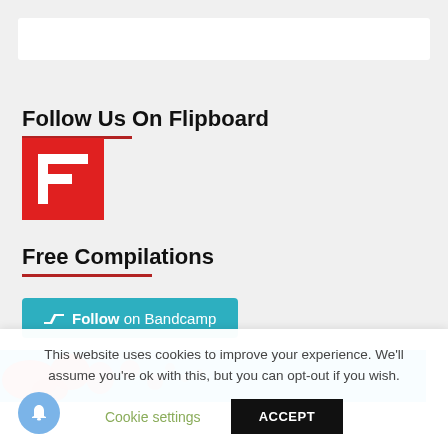Follow Us On Flipboard
[Figure (logo): Flipboard logo — red square with white F-shaped icon]
Free Compilations
[Figure (logo): Follow on Bandcamp button — teal/cyan rounded rectangle with Bandcamp icon and text]
[Figure (photo): Album art banner — cyan/blue background with red splatter art]
This website uses cookies to improve your experience. We'll assume you're ok with this, but you can opt-out if you wish.
Cookie settings
ACCEPT